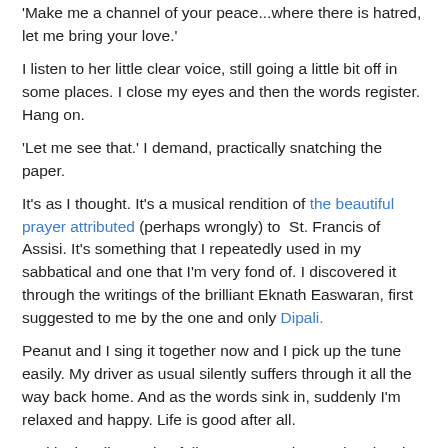'Make me a channel of your peace...where there is hatred, let me bring your love.'
I listen to her little clear voice, still going a little bit off in some places. I close my eyes and then the words register. Hang on.
'Let me see that.' I demand, practically snatching the paper.
It's as I thought. It's a musical rendition of the beautiful prayer attributed (perhaps wrongly) to St. Francis of Assisi. It's something that I repeatedly used in my sabbatical and one that I'm very fond of. I discovered it through the writings of the brilliant Eknath Easwaran, first suggested to me by the one and only Dipali.
Peanut and I sing it together now and I pick up the tune easily. My driver as usual silently suffers through it all the way back home. And as the words sink in, suddenly I'm relaxed and happy. Life is good after all.
And in the silence that follows, I remember seeing the sign